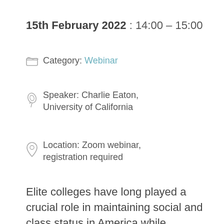15th February 2022 : 14:00 – 15:00
Category: Webinar
Speaker: Charlie Eaton, University of California
Location: Zoom webinar, registration required
Elite colleges have long played a crucial role in maintaining social and class status in America while